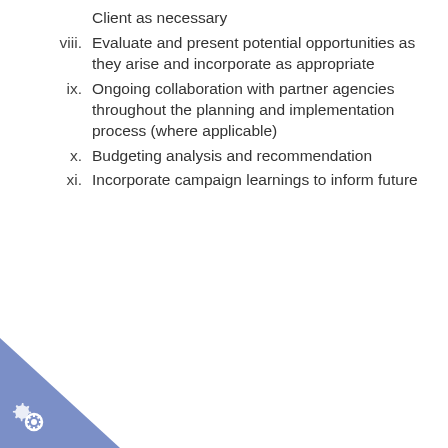Client as necessary
viii. Evaluate and present potential opportunities as they arise and incorporate as appropriate
ix. Ongoing collaboration with partner agencies throughout the planning and implementation process (where applicable)
x. Budgeting analysis and recommendation
xi. Incorporate campaign learnings to inform future